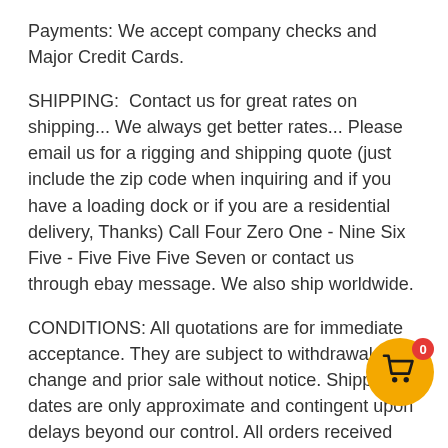Payments: We accept company checks and Major Credit Cards.
SHIPPING:  Contact us for great rates on shipping... We always get better rates... Please email us for a rigging and shipping quote (just include the zip code when inquiring and if you have a loading dock or if you are a residential delivery, Thanks) Call Four Zero One - Nine Six Five - Five Five Five Seven or contact us through ebay message. We also ship worldwide.
CONDITIONS: All quotations are for immediate acceptance. They are subject to withdrawal, change and prior sale without notice. Shipping dates are only approximate and contingent upon delays beyond our control. All orders received are binding only when they have been accepted and acknowledged by us in writing. Provisions in